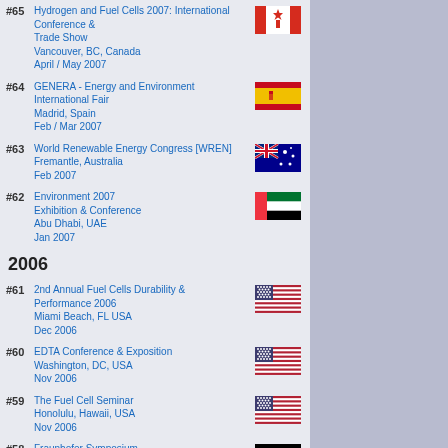#65 Hydrogen and Fuel Cells 2007: International Conference & Trade Show, Vancouver, BC, Canada, April / May 2007
#64 GENERA - Energy and Environment International Fair, Madrid, Spain, Feb / Mar 2007
#63 World Renewable Energy Congress [WREN], Fremantle, Australia, Feb 2007
#62 Environment 2007 Exhibition & Conference, Abu Dhabi, UAE, Jan 2007
2006
#61 2nd Annual Fuel Cells Durability & Performance 2006, Miami Beach, FL USA, Dec 2006
#60 EDTA Conference & Exposition, Washington, DC, USA, Nov 2006
#59 The Fuel Cell Seminar, Honolulu, Hawaii, USA, Nov 2006
#58 Fraunhofer Symposium Mikroenergietechnik POWER TO GO, Berlin, Germany, Oct 2006
#57 Renewables to Hydrogen Forum, Albuquerque, NM, USA, Oct 2006
#56 Alternative Transport Energies Conference